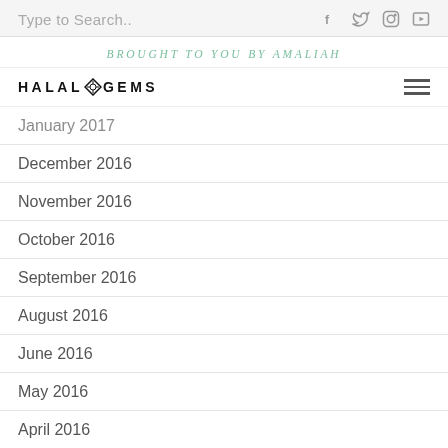Type to Search..
BROUGHT TO YOU BY AMALIAH
[Figure (logo): HALAL GEMS logo with compass/gem icon in center of text]
January 2017
December 2016
November 2016
October 2016
September 2016
August 2016
June 2016
May 2016
April 2016